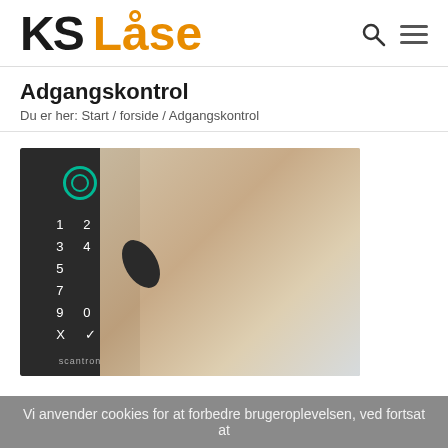KS Låse
Adgangskontrol
Du er her:  Start  /  forside  /  Adgangskontrol
[Figure (photo): A hand holding a key card or fob near a Scantron electronic keypad/access control device mounted on a door frame. The keypad shows digits 1-9, 0, X, and a checkmark.]
Vi anvender cookies for at forbedre brugeroplevelsen, ved fortsat at